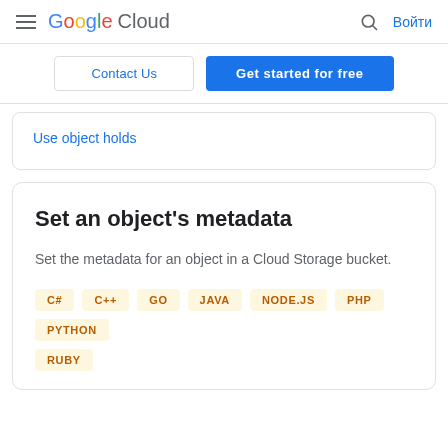Google Cloud — Войти
Contact Us | Get started for free
Use object holds
Set an object's metadata
Set the metadata for an object in a Cloud Storage bucket.
C# C++ GO JAVA NODE.JS PHP PYTHON RUBY